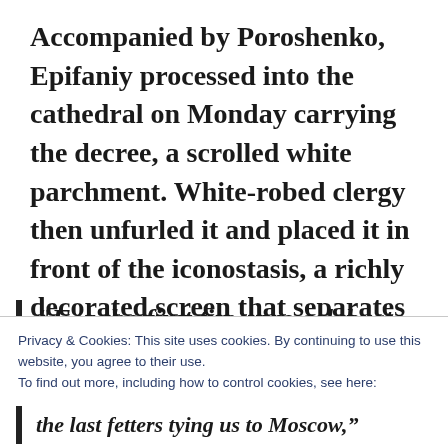Accompanied by Poroshenko, Epifaniy processed into the cathedral on Monday carrying the decree, a scrolled white parchment. White-robed clergy then unfurled it and placed it in front of the iconostasis, a richly decorated screen that separates the sanctuary from the nave in Orthodox churches.
“For the first time, we celebrate
Privacy & Cookies: This site uses cookies. By continuing to use this website, you agree to their use.
To find out more, including how to control cookies, see here:
Cookie Policy
Close and accept
the last fetters tying us to Moscow,”